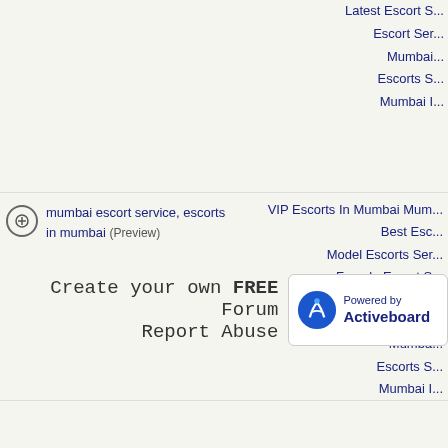Latest Escort Se...
Escort Ser...
Mumbai...
Escorts S...
Mumbai I...
mumbai escort service, escorts in mumbai (Preview)
VIP Escorts In Mumbai Mum...
Best Esc...
Model Escorts Ser...
Female Escort S...
Latest Escort S...
Escort Ser...
Mumba...
Escorts S...
Mumbai I...
Create your own FREE Forum
Report Abuse
[Figure (logo): Powered by Activeboard logo badge]